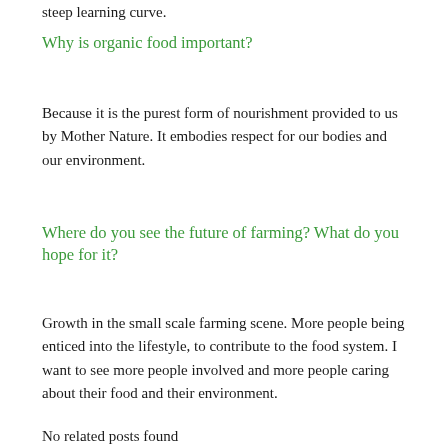steep learning curve.
Why is organic food important?
Because it is the purest form of nourishment provided to us by Mother Nature. It embodies respect for our bodies and our environment.
Where do you see the future of farming? What do you hope for it?
Growth in the small scale farming scene. More people being enticed into the lifestyle, to contribute to the food system. I want to see more people involved and more people caring about their food and their environment.
No related posts found